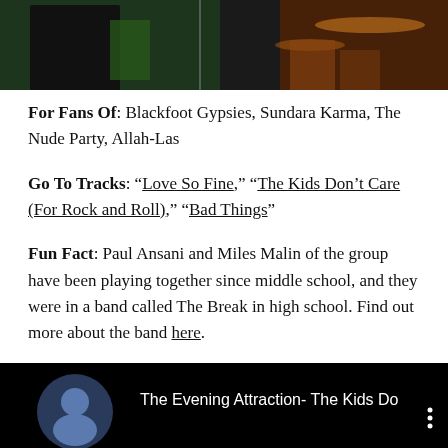[Figure (photo): Top portion of a band performing on stage, dark background with green and orange lighting, drum set visible]
For Fans Of: Blackfoot Gypsies, Sundara Karma, The Nude Party, Allah-Las
Go To Tracks: “Love So Fine,” “The Kids Don’t Care (For Rock and Roll),” “Bad Things”
Fun Fact: Paul Ansani and Miles Malin of the group have been playing together since middle school, and they were in a band called The Break in high school. Find out more about the band here.
[Figure (screenshot): Bottom portion showing a YouTube video thumbnail with black background, circular avatar on the left, and text reading 'The Evening Attraction- The Kids Do' with a three-dot menu icon on the right]